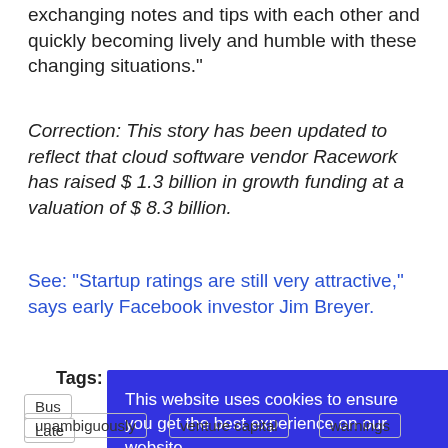exchanging notes and tips with each other and quickly becoming lively and humble with these changing situations.”
Correction: This story has been updated to reflect that cloud software vendor Racework has raised $ 1.3 billion in growth funding at a valuation of $ 8.3 billion.
See: “Startup ratings are still very attractive,” says early Facebook investor Jim Breyer.
Tags:
Bus
Late
Met
Rob
tec
This website uses cookies to ensure you get the best experience on our website.
Learn more
Got it
unambiguously
venture capital
warnings